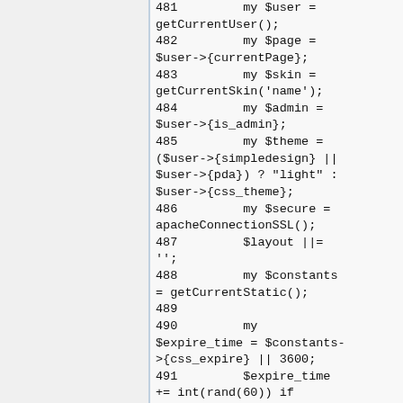481         my $user = getCurrentUser();
482         my $page = $user->{currentPage};
483         my $skin = getCurrentSkin('name');
484         my $admin = $user->{is_admin};
485         my $theme = ($user->{simpledesign} || $user->{pda}) ? "light" : $user->{css_theme};
486         my $secure = apacheConnectionSSL();
487         $layout ||= '';
488         my $constants = getCurrentStatic();
489
490         my $expire_time = $constants->{css_expire} || 3600;
491         $expire_time += int(rand(60)) if $expire_time;